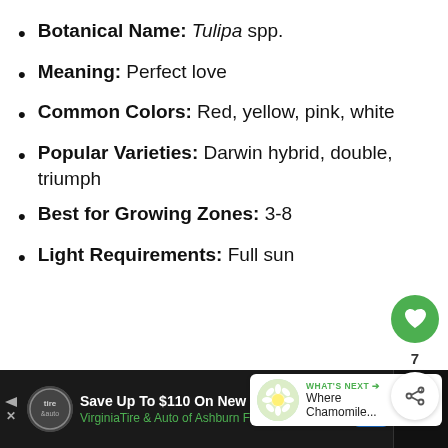Botanical Name: Tulipa spp.
Meaning: Perfect love
Common Colors: Red, yellow, pink, white
Popular Varieties: Darwin hybrid, double, triumph
Best for Growing Zones: 3-8
Light Requirements: Full sun
[Figure (screenshot): Ad bar at bottom: Save Up To $110 On New Tires, VirginiaTire & Auto of Ashburn Fa.]
[Figure (screenshot): What's Next panel: Where Chamomile...]